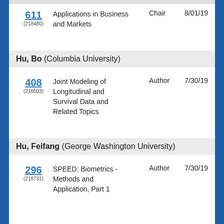611 (218480) Applications in Business and Markets  Chair  8/01/19
Hu, Bo (Columbia University)
408 (218503) Joint Modeling of Longitudinal and Survival Data and Related Topics  Author  7/30/19
Hu, Feifang (George Washington University)
296 (218731) SPEED: Biometrics - Methods and Application, Part 1  Author  7/30/19